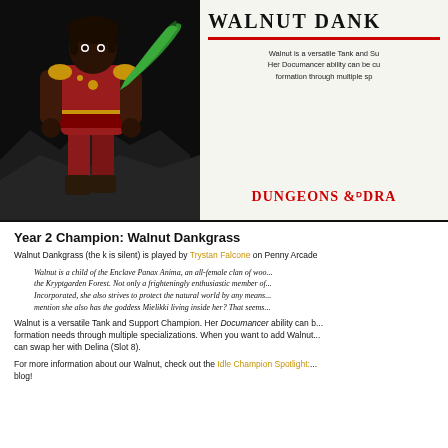[Figure (illustration): Character illustration of Walnut Dankgrass, a dark-skinned warrior in red robes with a green curved sword, standing on rocky terrain against a dark background. Partial view of Dungeons and Dragons branding card on the right.]
Year 2 Champion: Walnut Dankgrass
Walnut Dankgrass (the k is silent) is played by Trystan Falcone on Penny Arcade
Walnut is a child of the Enclave Panax Anima, an all-female clan of woo... the Kryptgarden Forest. Not only a frighteningly enthusiastic member of... Incorporated, she also strives to protect the natural world by any means... mention she also has the goddess Mielikki living inside her? That seems...
Walnut is a versatile Tank and Support Champion. Her Documancer ability can b... formation needs through multiple specializations. When you want to add Walnut... can swap her with Delina (Slot 8).
For more information about our Walnut, check out the Idle Champion Spotlight:... blog!